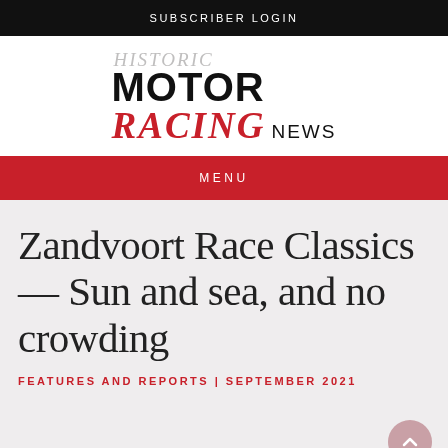SUBSCRIBER LOGIN
[Figure (logo): Historic Motor Racing News logo — 'HISTORIC' in italic grey serif, 'MOTOR' in bold black sans-serif, 'RACING' in bold italic red serif, 'NEWS' in light grey sans-serif]
MENU
Zandvoort Race Classics — Sun and sea, and no crowding
FEATURES AND REPORTS | SEPTEMBER 2021